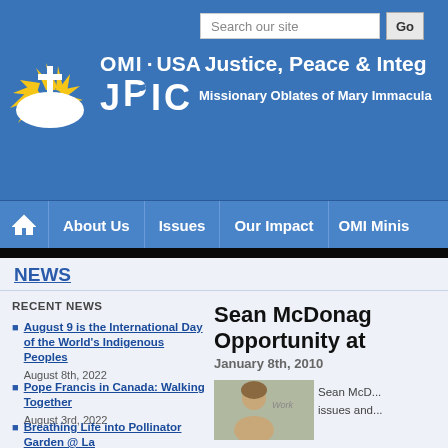OMI·USA Justice, Peace & Integrity — JPIC Missionary Oblates of Mary Immaculate
Navigation: Home | About Us | Issues | Our Impact | OMI Minis...
NEWS
RECENT NEWS
August 9 is the International Day of the World's Indigenous Peoples — August 8th, 2022
Pope Francis in Canada: Walking Together — August 3rd, 2022
Breathing Life into Pollinator Garden @ La
Sean McDonag... Opportunity at
January 8th, 2010
Sean McD... issues and...